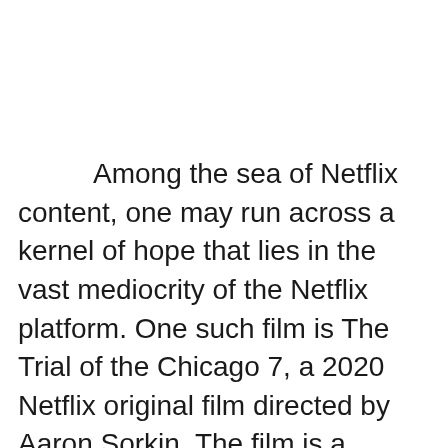Among the sea of Netflix content, one may run across a kernel of hope that lies in the vast mediocrity of the Netflix platform. One such film is The Trial of the Chicago 7, a 2020 Netflix original film directed by Aaron Sorkin. The film is a dramatic reenactment of the infamous 1969 trial of the same name in which seven social justice activists lead anti-war protests during the 1968 Democratic Convention held in Chicago. They were prosecuted for allegedly starting the ensuing riots. A realistic documentary style of presenting the case may have proven tiresome to